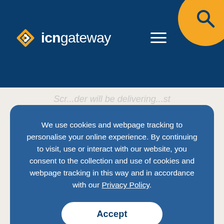icngateway
...text partially visible behind modal...
We use cookies and webpage tracking to personalise your online experience. By continuing to visit, use or interact with our website, you consent to the collection and use of cookies and webpage tracking in this way and in accordance with our Privacy Policy.
Accept
structures to facilitate the commencement of tunnelling operations.